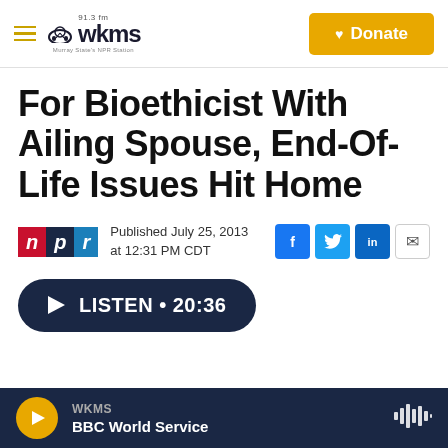WKMS 91.3 fm — Murray State's NPR Station | Donate
For Bioethicist With Ailing Spouse, End-Of-Life Issues Hit Home
Published July 25, 2013 at 12:31 PM CDT
LISTEN • 20:36
WKMS — BBC World Service